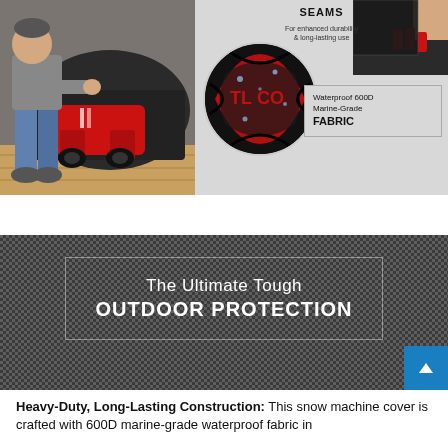[Figure (photo): Top composite image showing: left half - person crouching next to a red snow machine with dark cover; right half - close-up circle of 600D marine-grade fabric with red/black pattern and water droplets, plus text labels 'SEAMS', 'For enhanced durability & long-lasting use', and boxed text 'Waterproof 600D Marine-Grade FABRIC']
[Figure (infographic): Dark gray banner with woven texture background, containing a thin-bordered box with text 'The Ultimate Tough OUTDOOR PROTECTION' in white, and a blue scroll-to-top button in the bottom-right corner]
Heavy-Duty, Long-Lasting Construction: This snow machine cover is crafted with 600D marine-grade waterproof fabric in